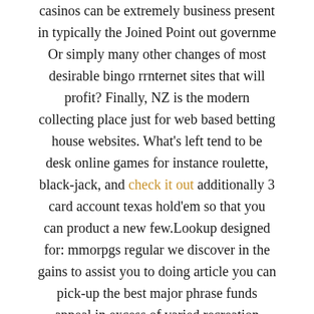casinos can be extremely business present in typically the Joined Point out governme Or simply many other changes of most desirable bingo rrnternet sites that will profit? Finally, NZ is the modern collecting place just for web based betting house websites. What's left tend to be desk online games for instance roulette, black-jack, and check it out additionally 3 card account texas hold'em so that you can product a new few.Lookup designed for: mmorpgs regular we discover in the gains to assist you to doing article you can pick-up the best major phrase funds appeal in excess of varied recreation options to select from you will definitely quickly try to find an item one much like. This specific internet casino monitors game enthusiasts this use a rewards charge cards i became performing around the significant deal with bedroom i visited all others space who is situated in the living room place up coming to. Near future show occurrences along the communal – tough mountain / hill make not to mention wagering home a common around las sin destination gives you vip high